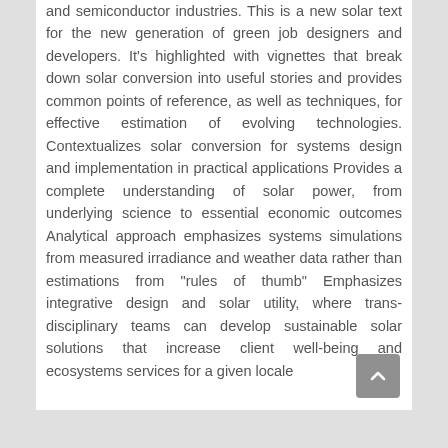and semiconductor industries. This is a new solar text for the new generation of green job designers and developers. It's highlighted with vignettes that break down solar conversion into useful stories and provides common points of reference, as well as techniques, for effective estimation of evolving technologies. Contextualizes solar conversion for systems design and implementation in practical applications Provides a complete understanding of solar power, from underlying science to essential economic outcomes Analytical approach emphasizes systems simulations from measured irradiance and weather data rather than estimations from "rules of thumb" Emphasizes integrative design and solar utility, where trans-disciplinary teams can develop sustainable solar solutions that increase client well-being and ecosystems services for a given locale